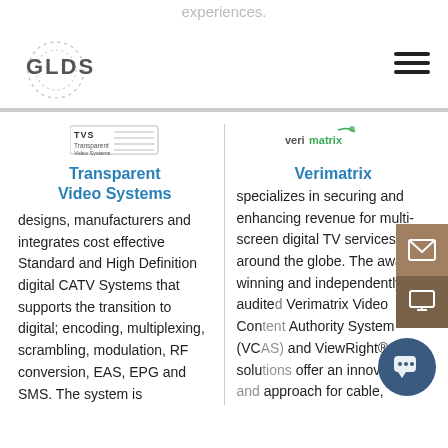experiences.
[Figure (logo): GLDS logo with dotted circular graphic]
[Figure (logo): Hamburger menu icon (three horizontal lines)]
[Figure (logo): TVS Transparent Video Systems logo]
Transparent Video Systems
designs, manufacturers and integrates cost effective Standard and High Definition digital CATV Systems that supports the transition to digital; encoding, multiplexing, scrambling, modulation, RF conversion, EAS, EPG and SMS. The system is
[Figure (logo): Verimatrix logo]
Verimatrix
specializes in securing and enhancing revenue for multi-screen digital TV services around the globe. The award-winning and independently audited Verimatrix Video Content Authority System (VCAS) and ViewRight® solutions offer an innovative approach for cable,